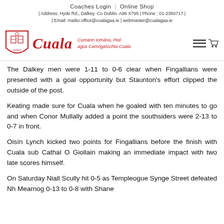Coaches Login | Online Shop
| Address: Hyde Rd., Dalkey. Co Dublin. A96 X795 | Phone : 01-2350717 | Email: mailto:office@cualagaa.ie | webmaster@cualagaa.ie
[Figure (logo): Cuala GAA logo with shield emblem, 'Cuala' text in red italic, Irish language text, and shopping cart icon]
The Dalkey men were 1-11 to 0-6 clear when Fingallians were presented with a goal opportunity but Staunton's effort clipped the outside of the post.
Keating made sure for Cuala when he goaled with ten minutes to go and when Conor Mullally added a point the southsiders were 2-13 to 0-7 in front.
Oisín Lynch kicked two points for Fingallians before the finish with Cuala sub Cathal O Giollain making an immediate impact with two late scores himself.
On Saturday Niall Scully hit 0-5 as Templeogue Synge Street defeated Nh Mearnog 0-13 to 0-8 with Shane